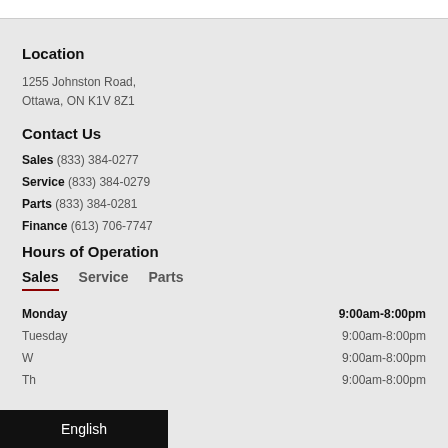Location
1255 Johnston Road,
Ottawa, ON K1V 8Z1
Contact Us
Sales (833) 384-0277
Service (833) 384-0279
Parts (833) 384-0281
Finance (613) 706-7747
Hours of Operation
Sales  Service  Parts
| Day | Hours |
| --- | --- |
| Monday | 9:00am-8:00pm |
| Tuesday | 9:00am-8:00pm |
| Wednesday | 9:00am-8:00pm |
| Thursday | 9:00am-8:00pm |
English